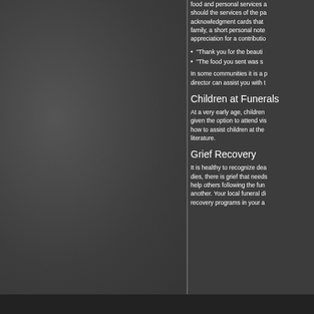food and personal services should the services of the pa acknowledgment cards that family, a short personal note appreciation for a contributio
"Thank you for the beauti
"The food you sent was s
In some communities it is a director can assist you with t
Children at Funerals
At a very early age, children given the option to attend vis how to assist children at the literature.
Grief Recovery
It is healthy to recognize dea dies, there is grief that needs help others following the fun another. Your local funeral di recovery programs in your a